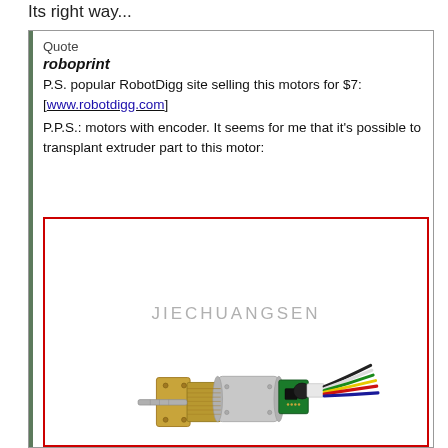Its right way...
Quote
roboprint
P.S. popular RobotDigg site selling this motors for $7:
[www.robotdigg.com]
P.P.S.: motors with encoder. It seems for me that it's possible to transplant extruder part to this motor:
[Figure (photo): Photo of a small DC geared motor with encoder and colored wires (red, green, yellow, black, white), branded JIECHUANGSEN, showing metal gearbox shaft and green encoder PCB board attached.]